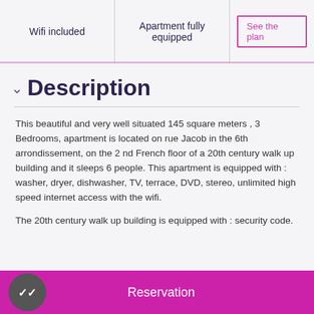| Wifi included | Apartment fully equipped | See the plan |
| --- | --- | --- |
Description
This beautiful and very well situated 145 square meters , 3 Bedrooms, apartment is located on rue Jacob in the 6th arrondissement, on the 2 nd French floor of a 20th century walk up building and it sleeps 6 people. This apartment is equipped with : washer, dryer, dishwasher, TV, terrace, DVD, stereo, unlimited high speed internet access with the wifi.
The 20th century walk up building is equipped with : security code.
Reservation